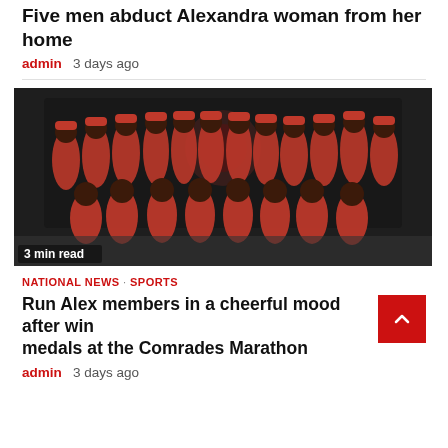Five men abduct Alexandra woman from her home
admin   3 days ago
[Figure (photo): Group photo of Run Alex members wearing red and black matching jackets and caps, posing together in two rows. Text overlay in bottom-left reads '3 min read'.]
3 min read
NATIONAL NEWS · SPORTS
Run Alex members in a cheerful mood after winning medals at the Comrades Marathon
admin   3 days ago